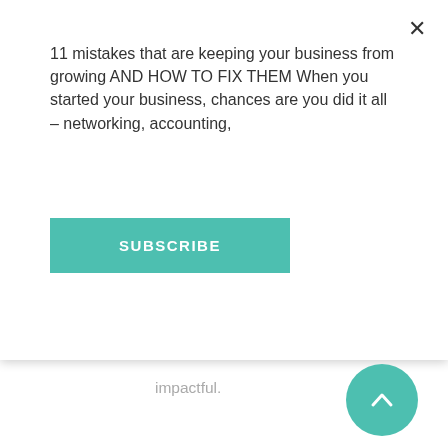11 mistakes that are keeping your business from growing AND HOW TO FIX THEM When you started your business, chances are you did it all – networking, accounting,
[Figure (other): Teal SUBSCRIBE button]
impactful.
It's literally just having the courage to open up.
MaryLynn: Yeah. Vulnerability is huge. And I think it takes a while to be able to trust yourself enough to do so. I mean, I trust myself now to be vulnerable. Even if something happens that maybe gets